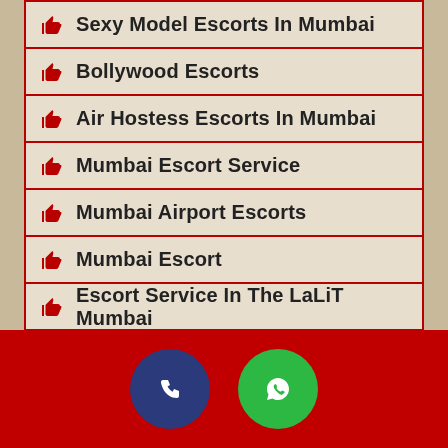Sexy Model Escorts In Mumbai
Bollywood Escorts
Air Hostess Escorts In Mumbai
Mumbai Escort Service
Mumbai Airport Escorts
Mumbai Escort
Escort Service In The LaLiT Mumbai
Escort Service In Hilton Mumbai
Escorts In Hotel Four Seasons Mumbai
[Figure (infographic): Footer with phone call button (dark blue circle) and WhatsApp button (green circle) on red background]